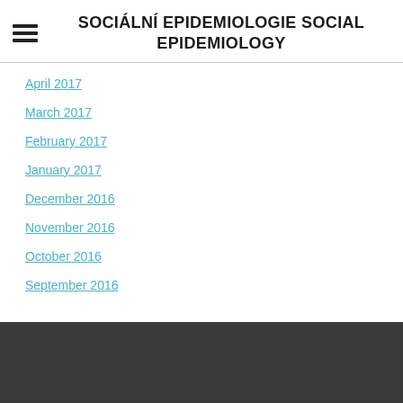SOCIÁLNÍ EPIDEMIOLOGIE SOCIAL EPIDEMIOLOGY
April 2017
March 2017
February 2017
January 2017
December 2016
November 2016
October 2016
September 2016